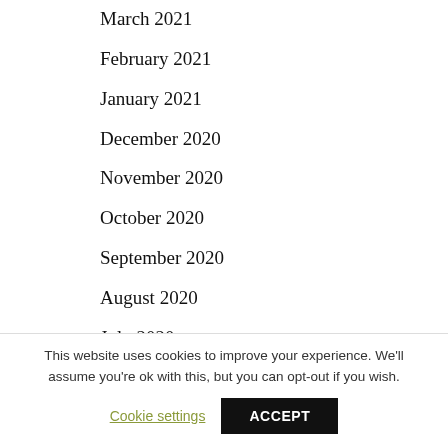March 2021
February 2021
January 2021
December 2020
November 2020
October 2020
September 2020
August 2020
July 2020
June 2020
This website uses cookies to improve your experience. We'll assume you're ok with this, but you can opt-out if you wish.
Cookie settings  ACCEPT